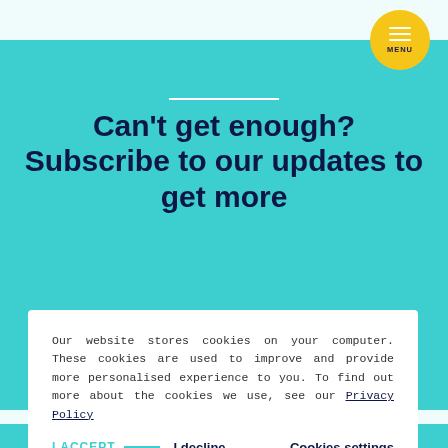[Figure (other): Yellow circular menu button with three horizontal white lines and 'MENU' label, positioned top-right]
Can't get enough? Subscribe to our updates to get more
Our website stores cookies on your computer. These cookies are used to improve and provide more personalised experience to you. To find out more about the cookies we use, see our Privacy Policy
I ACCEPT — I decline   Cookies settings
SHARES